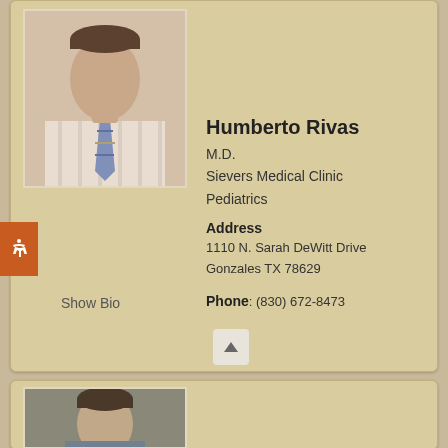[Figure (photo): Headshot photo of Dr. Humberto Rivas in a striped shirt and tie]
Humberto Rivas
M.D.
Sievers Medical Clinic
Pediatrics
Address
1110 N. Sarah DeWitt Drive
Gonzales TX 78629
Phone: (830) 672-8473
Show Bio
[Figure (photo): Headshot photo of another male doctor with short dark hair]